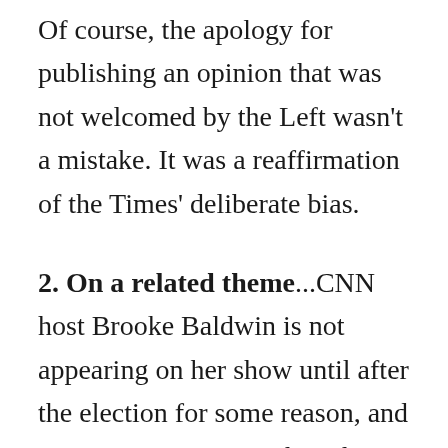Of course, the apology for publishing an opinion that was not welcomed by the Left wasn't a mistake. It was a reaffirmation of the Times' deliberate bias.
2. On a related theme...CNN host Brooke Baldwin is not appearing on her show until after the election for some reason, and in an Instagram post about her enforced hiatus urged readers to vote, adding, "See my necklace?" The photo